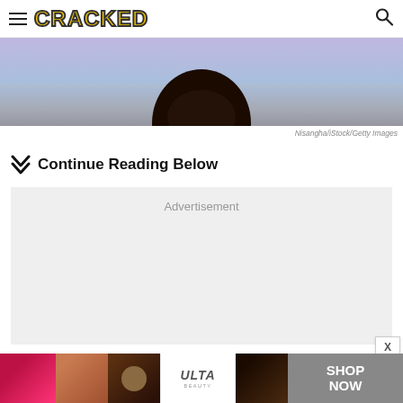CRACKED
[Figure (photo): Partial beach scene showing silhouette of person at shoreline with ocean water and purple/blue sky]
Nisangha/iStock/Getty Images
Continue Reading Below
[Figure (other): Advertisement placeholder box with light gray background]
[Figure (other): Ulta Beauty banner advertisement showing makeup images with SHOP NOW call to action]